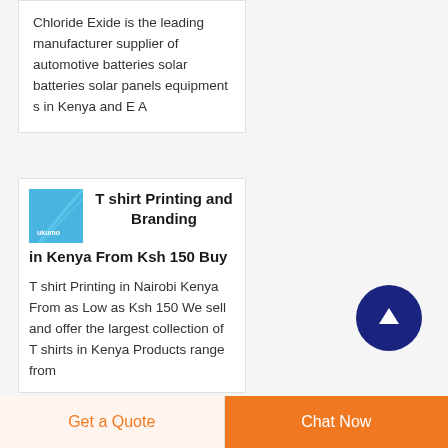Chloride Exide is the leading manufacturer supplier of automotive batteries solar batteries solar panels equipment s in Kenya and E A
T shirt Printing and Branding in Kenya From Ksh 150 Buy
T shirt Printing in Nairobi Kenya From as Low as Ksh 150 We sell and offer the largest collection of T shirts in Kenya Products range from